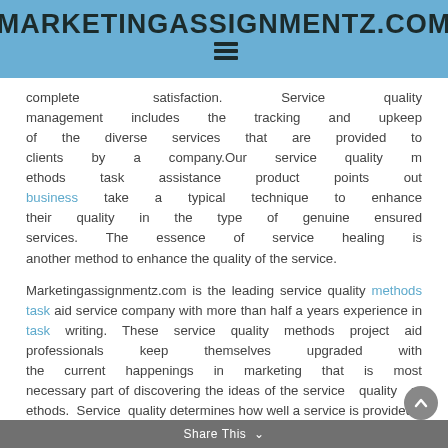MARKETINGASSIGNMENTZ.COM
complete satisfaction. Service quality management includes the tracking and upkeep of the diverse services that are provided to clients by a company.Our service quality methods task assistance product points out business take a typical technique to enhance their quality in the type of genuine ensured services. The essence of service healing is another method to enhance the quality of the service.
Marketingassignmentz.com is the leading service quality methods task aid service company with more than half a years experience in task writing. These service quality methods project aid professionals keep themselves upgraded with the current happenings in marketing that is most necessary part of discovering the ideas of the service quality methods. Service quality determines how well a service is provided,